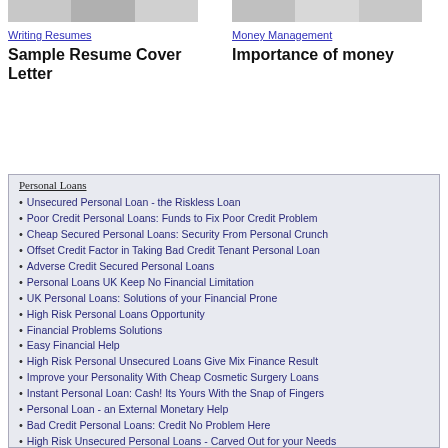[Figure (photo): Photo strip of people related to writing resumes]
[Figure (photo): Photo strip of people related to money management]
Writing Resumes
Money Management
Sample Resume Cover Letter
Importance of money
Personal Loans
Unsecured Personal Loan - the Riskless Loan
Poor Credit Personal Loans: Funds to Fix Poor Credit Problem
Cheap Secured Personal Loans: Security From Personal Crunch
Offset Credit Factor in Taking Bad Credit Tenant Personal Loan
Adverse Credit Secured Personal Loans
Personal Loans UK Keep No Financial Limitation
UK Personal Loans: Solutions of your Financial Prone
High Risk Personal Loans Opportunity
Financial Problems Solutions
Easy Financial Help
High Risk Personal Unsecured Loans Give Mix Finance Result
Improve your Personality With Cheap Cosmetic Surgery Loans
Instant Personal Loan: Cash! Its Yours With the Snap of Fingers
Personal Loan - an External Monetary Help
Bad Credit Personal Loans: Credit No Problem Here
High Risk Unsecured Personal Loans - Carved Out for your Needs
Finding the Best Possible Uses of Taking Out a Personal Loan